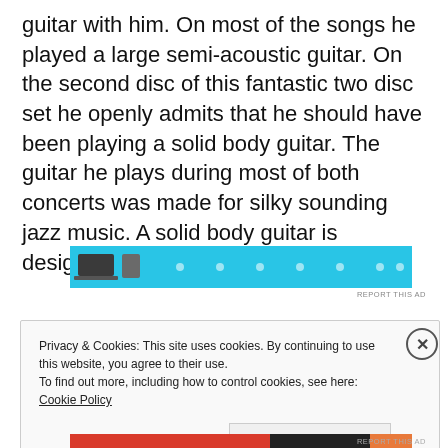guitar with him. On most of the songs he played a large semi-acoustic guitar. On the second disc of this fantastic two disc set he openly admits that he should have been playing a solid body guitar. The guitar he plays during most of both concerts was made for silky sounding jazz music. A solid body guitar is designed for rock music.
[Figure (other): Advertisement banner with cyan/blue background showing device icons and dots]
Privacy & Cookies: This site uses cookies. By continuing to use this website, you agree to their use.
To find out more, including how to control cookies, see here: Cookie Policy
Close and accept